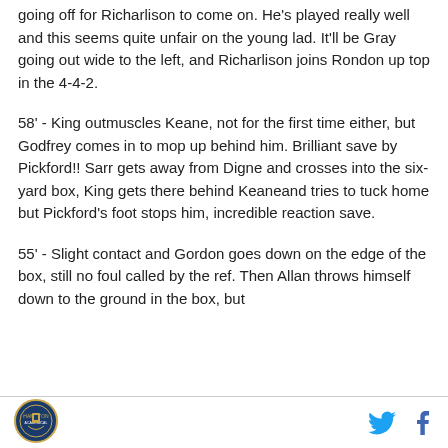going off for Richarlison to come on. He's played really well and this seems quite unfair on the young lad. It'll be Gray going out wide to the left, and Richarlison joins Rondon up top in the 4-4-2.
58' - King outmuscles Keane, not for the first time either, but Godfrey comes in to mop up behind him. Brilliant save by Pickford!! Sarr gets away from Digne and crosses into the six-yard box, King gets there behind Keaneand tries to tuck home but Pickford's foot stops him, incredible reaction save.
55' - Slight contact and Gordon goes down on the edge of the box, still no foul called by the ref. Then Allan throws himself down to the ground in the box, but
[Figure (logo): Circular badge/crest logo in blue and gold at bottom left of footer]